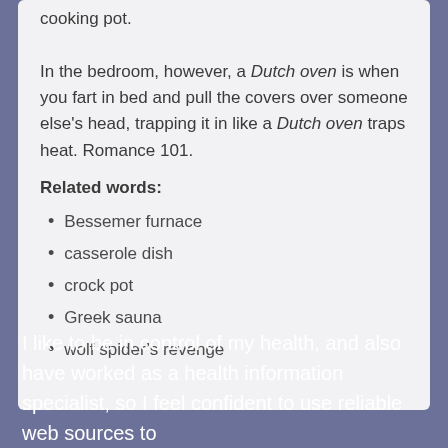cooking pot.

In the bedroom, however, a Dutch oven is when you fart in bed and pull the covers over someone else's head, trapping it in like a Dutch oven traps heat. Romance 101.
Related words:
Bessemer furnace
casserole dish
crock pot
Greek sauna
wolf spider’s revenge
I like to be in control of my health, and also have worked as a health information specialist, so I feel confident to use reliable web sources to